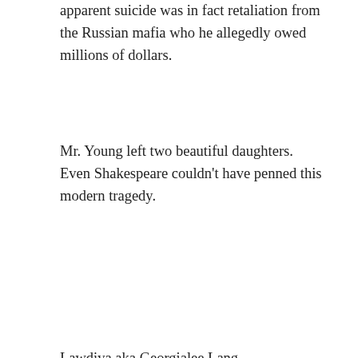apparent suicide was in fact retaliation from the Russian mafia who he allegedly owed millions of dollars.
Mr. Young left two beautiful daughters. Even Shakespeare couldn’t have penned this modern tragedy.
Lawdiva aka Georgialee Lang
By Georgialee Lang in Divorce, Family Law | March 20, 2015 | 347 Words | 2 Comments
The Curse of the In-Person Litigant